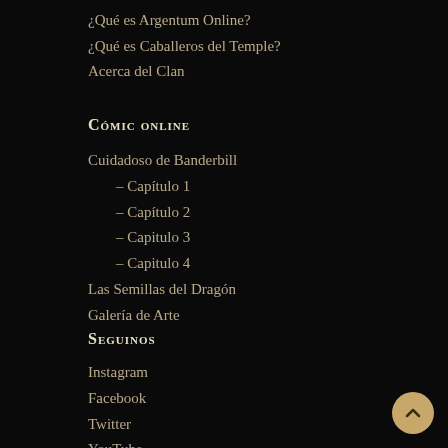¿Qué es Argentum Online?
¿Qué es Caballeros del Temple?
Acerca del Clan
Cómic online
Cuidadoso de Banderbill
– Capítulo 1
– Capítulo 2
– Capitulo 3
– Capitulo 4
Las Semillas del Dragón
Galería de Arte
Seguinos
Instagram
Facebook
Twitter
YouTube